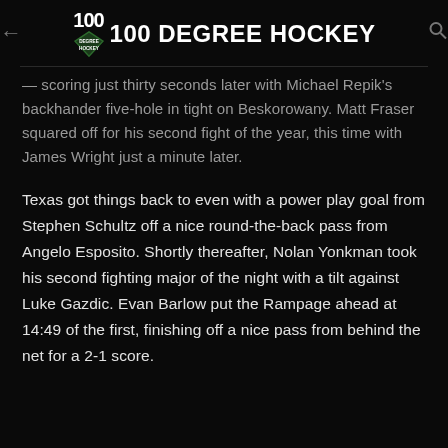100 DEGREE HOCKEY
— scoring just thirty seconds later with Michael Repik's backhander five-hole in tight on Beskorowany. Matt Fraser squared off for his second fight of the year, this time with James Wright just a minute later.
Texas got things back to even with a power play goal from Stephen Schultz off a nice round-the-back pass from Angelo Esposito. Shortly thereafter, Nolan Yonkman took his second fighting major of the night with a tilt against Luke Gazdic. Evan Barlow put the Rampage ahead at 14:49 of the first, finishing off a nice pass from behind the net for a 2-1 score.